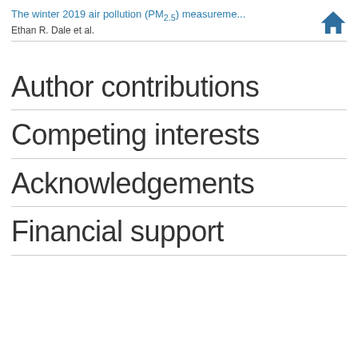The winter 2019 air pollution (PM2.5) measureme... Ethan R. Dale et al.
Author contributions
Competing interests
Acknowledgements
Financial support